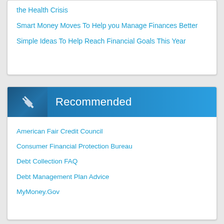the Health Crisis
Smart Money Moves To Help you Manage Finances Better
Simple Ideas To Help Reach Financial Goals This Year
Recommended
American Fair Credit Council
Consumer Financial Protection Bureau
Debt Collection FAQ
Debt Management Plan Advice
MyMoney.Gov
Recommended